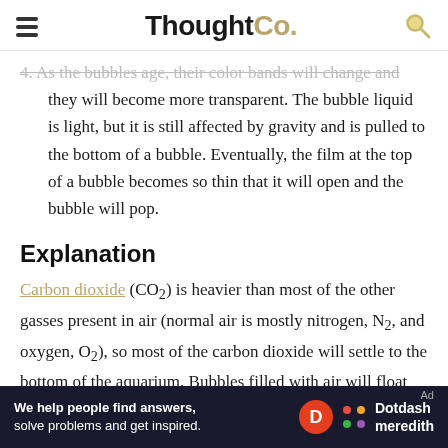ThoughtCo.
4. As the bubbles age, their color bands will change and they will become more transparent. The bubble liquid is light, but it is still affected by gravity and is pulled to the bottom of a bubble. Eventually, the film at the top of a bubble becomes so thin that it will open and the bubble will pop.
Explanation
Carbon dioxide (CO₂) is heavier than most of the other gasses present in air (normal air is mostly nitrogen, N₂, and oxygen, O₂), so most of the carbon dioxide will settle to the bottom of the aquarium. Bubbles filled with air will float on top of the heavier carbon dioxide. Use a tutorial for calculating
We help people find answers, solve problems and get inspired. Dotdash meredith Ad